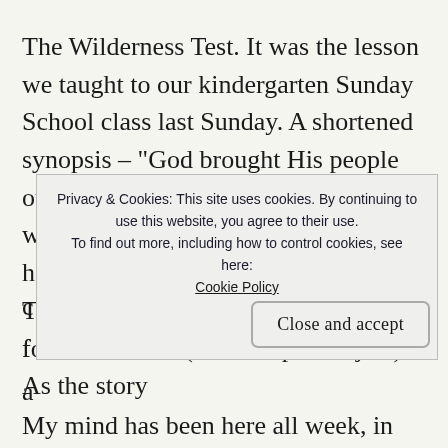The Wilderness Test. It was the lesson we taught to our kindergarten Sunday School class last Sunday. A shortened synopsis – “God brought His people out of Egypt, and they were on their way to the promised land. But they had to go through the wilderness first. The wilderness did not have much food or water.” (The Gospel Project). As the story
Privacy & Cookies: This site uses cookies. By continuing to use this website, you agree to their use. To find out more, including how to control cookies, see here: Cookie Policy
Close and accept
My mind has been here all week, in the wilderness.